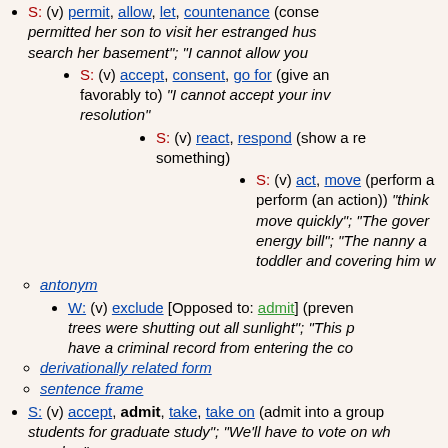S: (v) permit, allow, let, countenance (conse... permitted her son to visit her estranged hus... search her basement"; "I cannot allow you...
S: (v) accept, consent, go for (give an... favorably to) "I cannot accept your inv... resolution"
S: (v) react, respond (show a re... something)
S: (v) act, move (perform a... perform (an action)) "think... move quickly"; "The gover... energy bill"; "The nanny a... toddler and covering him w...
antonym
W: (v) exclude [Opposed to: admit] (preven... trees were shutting out all sunlight"; "This p... have a criminal record from entering the co...
derivationally related form
sentence frame
S: (v) accept, admit, take, take on (admit into a group... students for graduate study"; "We'll have to vote on wh... member"
S: (v) admit, allow (afford possibility) "This problem ad... short story allows of several different interpretations"
S: (v) admit (give access or entrance to) "The French...